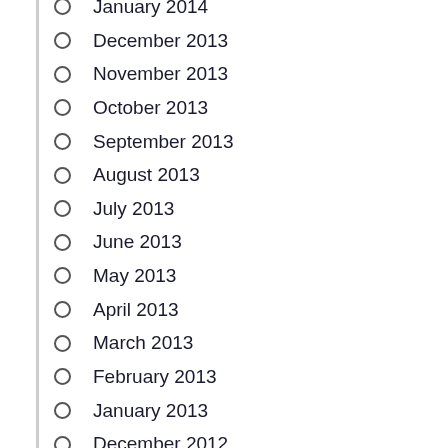January 2014
December 2013
November 2013
October 2013
September 2013
August 2013
July 2013
June 2013
May 2013
April 2013
March 2013
February 2013
January 2013
December 2012
November 2012
October 2012